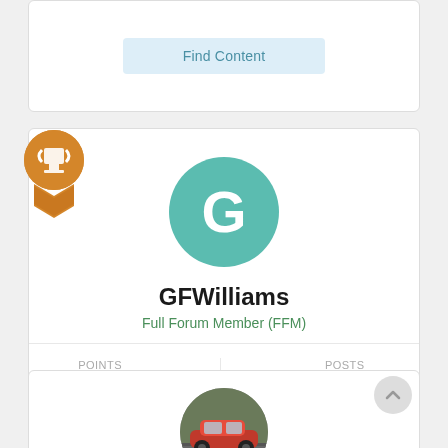[Figure (screenshot): Top card with Find Content button (partial view)]
[Figure (illustration): Orange award/ribbon badge icon in top-left of profile card]
[Figure (illustration): Teal circular avatar with letter G]
GFWilliams
Full Forum Member (FFM)
POINTS
4
POSTS
1,546
[Figure (screenshot): Find Content button]
[Figure (photo): Circular photo of a red sports car on a road (partial, bottom of page)]